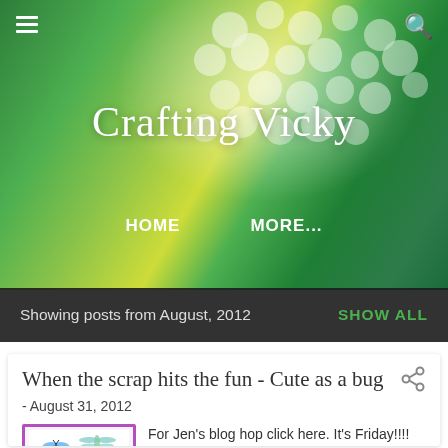[Figure (illustration): Colorful abstract painted background in greens, yellows, and blues with white circle stamp patterns, used as blog header background image]
Crafting Vicky
HOME   MORE...
Showing posts from August, 2012
SHOW ALL
When the scrap hits the fun - Cute as a bug
- August 31, 2012
[Figure (illustration): Craft/scrapbooking image thumbnail with purple border showing bug-themed clipart including butterfly, dragonfly, caterpillar, ladybug, and other insects on white background]
For Jen's blog hop click here. It's Friday!!!!  TGIF!!!  Don't know about you but I'm sure glad that the week is over!  Kids were